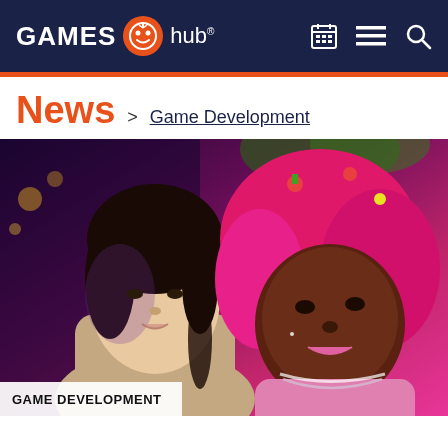GAMES hub® [navigation bar with calendar, menu, and search icons]
News > Game Development
[Figure (photo): Two young women posing together. One has dark hair and is wearing a beige cardigan. The other has bright pink curly hair with colorful hair accessories and is wearing a pink outfit with a beaded necklace. The background has pink/purple lighting and decorative elements.]
GAME DEVELOPMENT